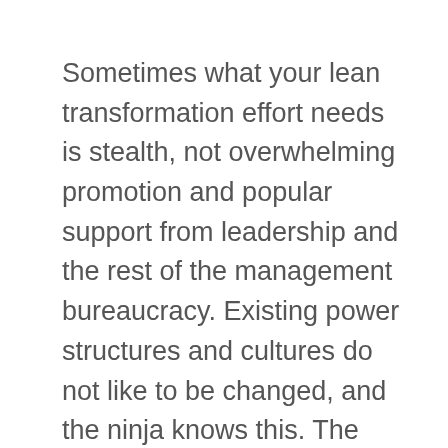Sometimes what your lean transformation effort needs is stealth, not overwhelming promotion and popular support from leadership and the rest of the management bureaucracy. Existing power structures and cultures do not like to be changed, and the ninja knows this. The ninja does not fight the battle directly, but rather wages a war of stealth, an information war. In practical business terms this may mean building success cases in smaller ways before implementing across the board, or spending time finding out those who will not support kaizen in your organization, and dealing with them. The work of the successful ninja will be noticed only when it is too late for the opponent to make a defense. Sometimes you